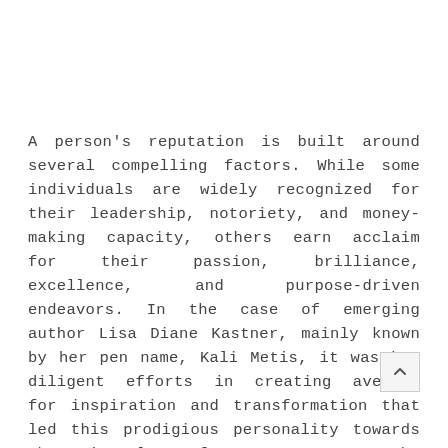A person's reputation is built around several compelling factors. While some individuals are widely recognized for their leadership, notoriety, and money-making capacity, others earn acclaim for their passion, brilliance, excellence, and purpose-driven endeavors. In the case of emerging author Lisa Diane Kastner, mainly known by her pen name, Kali Metis, it was her diligent efforts in creating avenues for inspiration and transformation that led this prodigious personality towards the pinnacles of greatness. As she continues to demonstrate her exceptional capacity, she sends across a powerful message, inspiring the next generation of trailblazing personalities every step of the way.
Filled with a vision that knows no bounds, Kali Metis is an esteemed author whose literary pieces speak volumes of her talents and prowess. Since dipping her toes into the